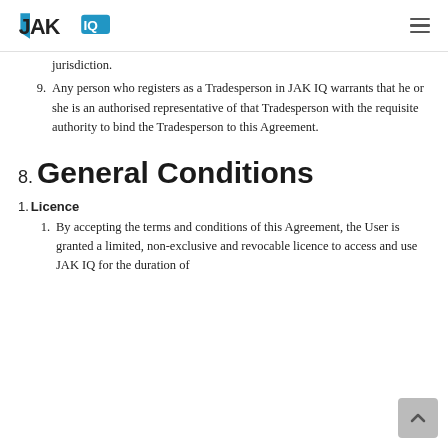JAK IQ
jurisdiction.
9. Any person who registers as a Tradesperson in JAK IQ warrants that he or she is an authorised representative of that Tradesperson with the requisite authority to bind the Tradesperson to this Agreement.
8. General Conditions
1. Licence
1. By accepting the terms and conditions of this Agreement, the User is granted a limited, non-exclusive and revocable licence to access and use JAK IQ for the duration of